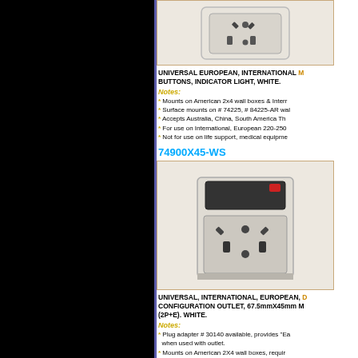[Figure (photo): White universal multi-standard electrical outlet/receptacle, viewed from front]
UNIVERSAL EUROPEAN, INTERNATIONAL M... BUTTONS, INDICATOR LIGHT, WHITE.
Notes:
* Mounts on American 2x4 wall boxes & Intern...
* Surface mounts on # 74225, # 84225-AR wal...
* Accepts Australia, China, South America Th...
* For use on International, European 220-250 ...
* Not for use on life support, medical equipm...
74900X45-WS
[Figure (photo): White universal multi-standard electrical outlet module 67.5mmX45mm with switch, viewed at angle]
UNIVERSAL, INTERNATIONAL, EUROPEAN, D... CONFIGURATION OUTLET, 67.5mmX45mm M... (2P+E). WHITE.
Notes:
* Plug adapter # 30140 available, provides "Ea... when used with outlet.
* Mounts on American 2X4 wall boxes, requir...